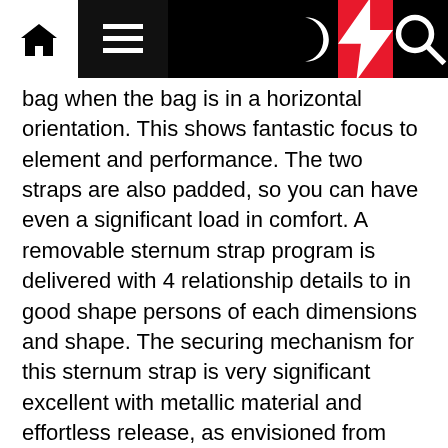Navigation bar with home, menu, dark mode, bolt, and search icons
bag when the bag is in a horizontal orientation. This shows fantastic focus to element and performance. The two straps are also padded, so you can have even a significant load in comfort. A removable sternum strap program is delivered with 4 relationship details to in good shape persons of each dimensions and shape. The securing mechanism for this sternum strap is very significant excellent with metallic material and effortless release, as envisioned from WaterField Designs. There is also a strap program so that you can tuck the shoulder straps when not in use, as it is crystal clear WaterField has thought of all the things with this bag.
See also: WaterField Designs Pro Govt Laptop Backpack: A fantastic enterprise backpack